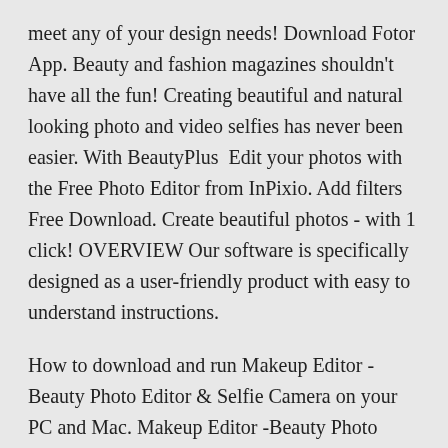meet any of your design needs! Download Fotor App. Beauty and fashion magazines shouldn't have all the fun! Creating beautiful and natural looking photo and video selfies has never been easier. With BeautyPlus  Edit your photos with the Free Photo Editor from InPixio. Add filters Free Download. Create beautiful photos - with 1 click! OVERVIEW Our software is specifically designed as a user-friendly product with easy to understand instructions.
How to download and run Makeup Editor -Beauty Photo Editor & Selfie Camera on your PC and Mac. Makeup Editor -Beauty Photo Editor & Selfie Camera For PC can be easily installed and used on a desktop computer or laptop running Windows XP, Windows 7, Windows 8, Windows 8.1, Windows 10 and a Macbook, iMac running Mac OS X. This will be done using You can start using Body Tune: Beauty Photo Editor for Pc now! Body tune: Body Tune: Beauty Photo Editor Photo & this